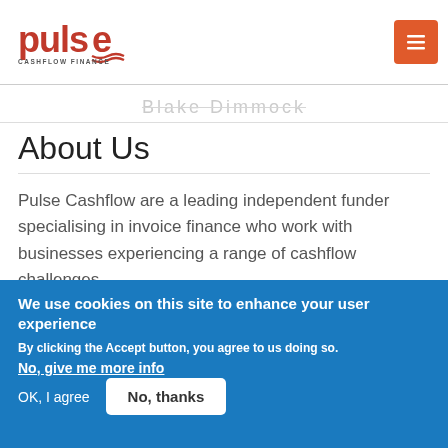[Figure (logo): Pulse Cashflow Finance logo - a Cullet Trade Holdings company]
About Us
Pulse Cashflow are a leading independent funder specialising in invoice finance who work with businesses experiencing a range of cashflow challenges.
We use cookies on this site to enhance your user experience
By clicking the Accept button, you agree to us doing so.
No, give me more info
OK, I agree
No, thanks